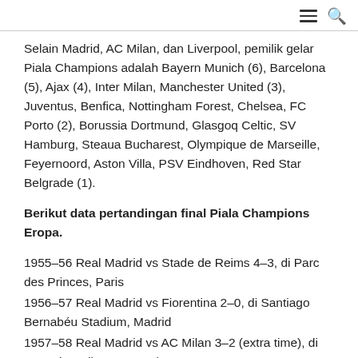≡ 🔍
Selain Madrid, AC Milan, dan Liverpool, pemilik gelar Piala Champions adalah Bayern Munich (6), Barcelona (5), Ajax (4), Inter Milan, Manchester United (3), Juventus, Benfica, Nottingham Forest, Chelsea, FC Porto (2), Borussia Dortmund, Glasgoq Celtic, SV Hamburg, Steaua Bucharest, Olympique de Marseille, Feyernoord, Aston Villa, PSV Eindhoven, Red Star Belgrade (1).
Berikut data pertandingan final Piala Champions Eropa.
1955–56 Real Madrid vs Stade de Reims 4–3, di Parc des Princes, Paris
1956–57 Real Madrid vs Fiorentina 2–0, di Santiago Bernabéu Stadium, Madrid
1957–58 Real Madrid vs AC Milan 3–2 (extra time), di Heysel Stadium, Brussels
1958–59 Real Madrid vs Stade de Reims 2–0, di Neckarstadion, Stuttgart
1959–60 Real Madrid vs Eintracht Frankfurt 7–3, di Hampden Park,